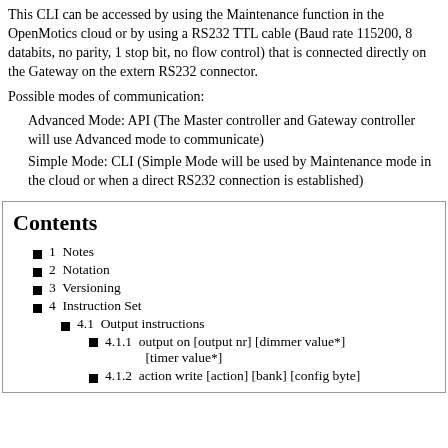This CLI can be accessed by using the Maintenance function in the OpenMotics cloud or by using a RS232 TTL cable (Baud rate 115200, 8 databits, no parity, 1 stop bit, no flow control) that is connected directly on the Gateway on the extern RS232 connector.
Possible modes of communication:
Advanced Mode: API (The Master controller and Gateway controller will use Advanced mode to communicate)
Simple Mode: CLI (Simple Mode will be used by Maintenance mode in the cloud or when a direct RS232 connection is established)
Contents
1  Notes
2  Notation
3  Versioning
4  Instruction Set
4.1  Output instructions
4.1.1  output on [output nr] [dimmer value*] [timer value*]
4.1.2  action write [action] [bank] [config byte]